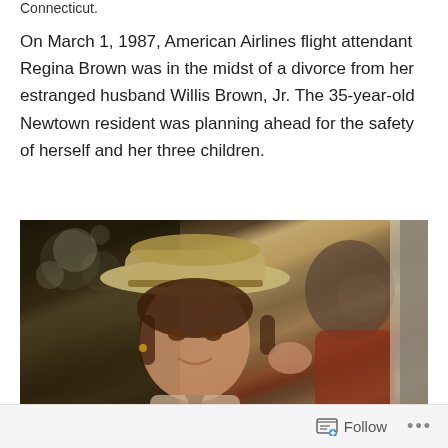Connecticut.
On March 1, 1987, American Airlines flight attendant Regina Brown was in the midst of a divorce from her estranged husband Willis Brown, Jr. The 35-year-old Newtown resident was planning ahead for the safety of herself and her three children.
[Figure (photo): A woman wearing a cowboy hat smiling, with another person visible in the background. The photo appears vintage/aged with warm tones.]
Follow ...